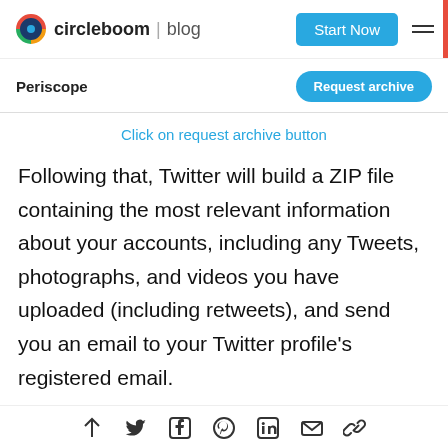circleboom | blog
Periscope
Click on request archive button
Following that, Twitter will build a ZIP file containing the most relevant information about your accounts, including any Tweets, photographs, and videos you have uploaded (including retweets), and send you an email to your Twitter profile's registered email.
Social share icons: up arrow, Twitter, Facebook, Pinterest, LinkedIn, Email, Link